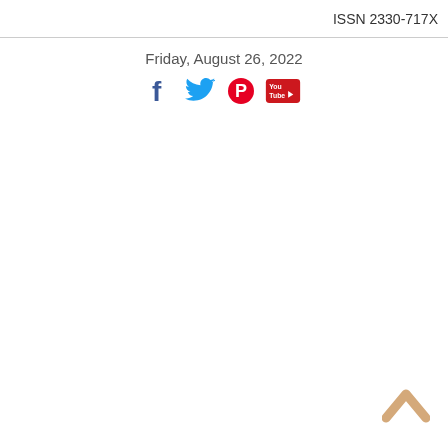ISSN 2330-717X
Friday, August 26, 2022
[Figure (other): Social media icons: Facebook (blue f), Twitter (blue bird), Pinterest (red P), YouTube (red play button)]
[Figure (other): Back to top chevron arrow icon in tan/beige color]